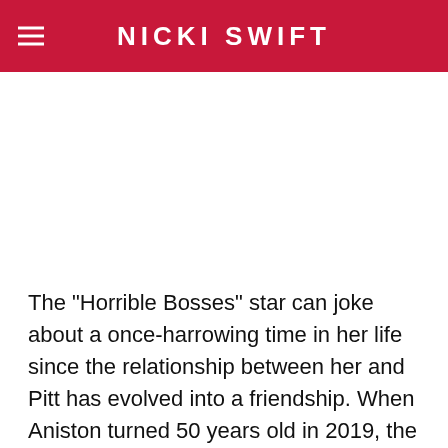NICKI SWIFT
[Figure (photo): Image placeholder area (white/blank) below the header]
The "Horrible Bosses" star can joke about a once-harrowing time in her life since the relationship between her and Pitt has evolved into a friendship. When Aniston turned 50 years old in 2019, the "Inglourious Basterds" star was on the guest list for her